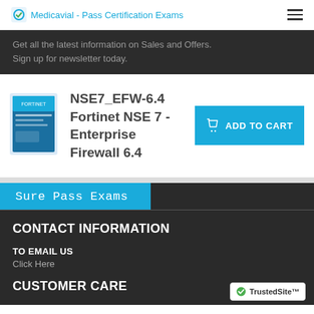Medicavial - Pass Certification Exams
Get all the latest information on Sales and Offers.
Sign up for newsletter today.
NSE7_EFW-6.4 Fortinet NSE 7 - Enterprise Firewall 6.4
[Figure (other): Book cover image for NSE7_EFW-6.4 Fortinet NSE 7 Enterprise Firewall 6.4 exam prep guide]
[Figure (other): ADD TO CART button in blue with shopping bag icon]
[Figure (other): Sure Pass Exams banner in blue on dark background]
CONTACT INFORMATION
TO EMAIL US
Click Here
CUSTOMER CARE
[Figure (logo): TrustedSite badge with green checkmark]